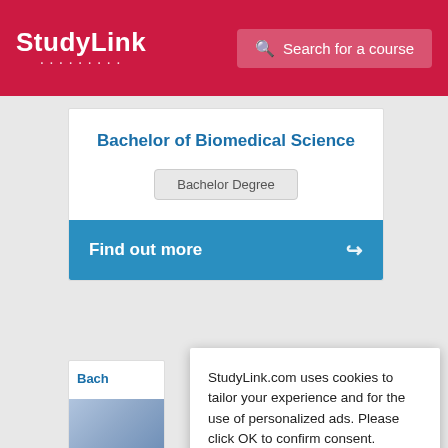StudyLink | Search for a course
Bachelor of Biomedical Science
Bachelor Degree
Find out more
Bach
StudyLink.com uses cookies to tailor your experience and for the use of personalized ads. Please click OK to confirm consent.
Learn more in our privacy policy
OK